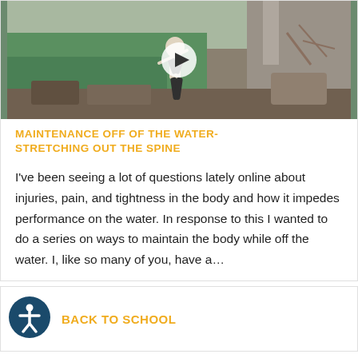[Figure (screenshot): Video thumbnail showing a woman stretching outdoors near a waterfall and rocks, with a white play button overlay in the center]
MAINTENANCE OFF OF THE WATER- STRETCHING OUT THE SPINE
I've been seeing a lot of questions lately online about injuries, pain, and tightness in the body and how it impedes performance on the water. In response to this I wanted to do a series on ways to maintain the body while off the water. I, like so many of you, have a...
[Figure (logo): Accessibility icon - circular dark blue badge with white figure with arms and legs outstretched]
BACK TO SCHOOL